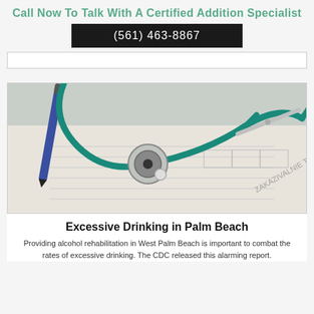Call Now To Talk With A Certified Addition Specialist
(561) 463-8867
[Figure (photo): A teal stethoscope and a blue pen resting on a medical form or document, with text visible including 'ZAKAZIVALNIE TERNIJA']
Excessive Drinking in Palm Beach
Providing alcohol rehabilitation in West Palm Beach is important to combat the rates of excessive drinking. The CDC released this alarming report.